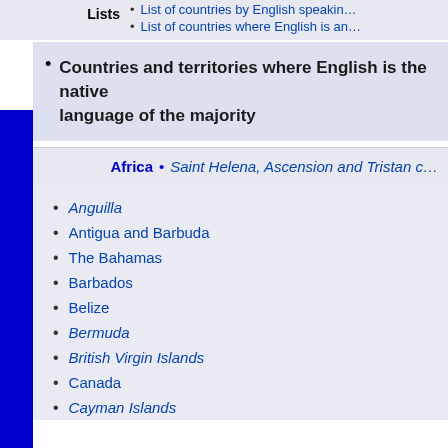List of countries by English speaking...
List of countries where English is an...
Countries and territories where English is the native language of the majority
Africa • Saint Helena, Ascension and Tristan...
Anguilla
Antigua and Barbuda
The Bahamas
Barbados
Belize
Bermuda
British Virgin Islands
Canada
Cayman Islands